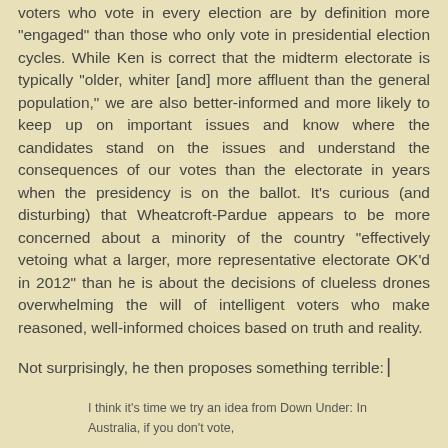voters who vote in every election are by definition more "engaged" than those who only vote in presidential election cycles. While Ken is correct that the midterm electorate is typically "older, whiter [and] more affluent than the general population," we are also better-informed and more likely to keep up on important issues and know where the candidates stand on the issues and understand the consequences of our votes than the electorate in years when the presidency is on the ballot. It's curious (and disturbing) that Wheatcroft-Pardue appears to be more concerned about a minority of the country "effectively vetoing what a larger, more representative electorate OK'd in 2012" than he is about the decisions of clueless drones overwhelming the will of intelligent voters who make reasoned, well-informed choices based on truth and reality.
Not surprisingly, he then proposes something terrible:
I think it's time we try an idea from Down Under: In Australia, if you don't vote, you get a ticket. Surely voting is as much a civic duty as serving on a jury or paying our taxes. Since we already pay a fine if we shirk jury duty or dodge